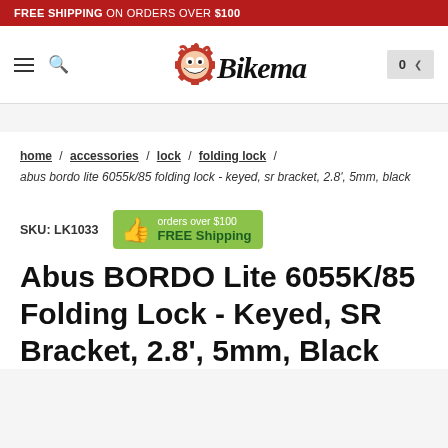FREE SHIPPING ON ORDERS OVER $100
[Figure (logo): Bikeman logo — cartoon face with red gear and handwritten Bikeman text]
home / accessories / lock / folding lock / abus bordo lite 6055k/85 folding lock - keyed, sr bracket, 2.8', 5mm, black
SKU: LK1033  orders over $100  FREE Shipping
Abus BORDO Lite 6055K/85 Folding Lock - Keyed, SR Bracket, 2.8', 5mm, Black